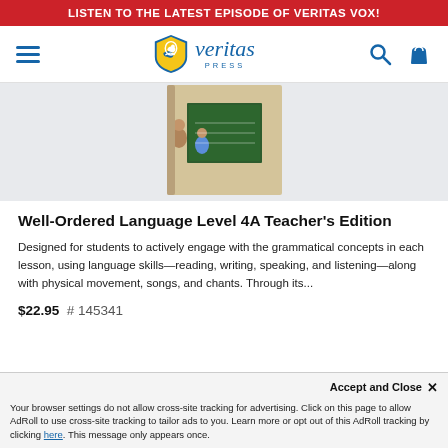LISTEN TO THE LATEST EPISODE OF VERITAS VOX!
[Figure (logo): Veritas Press logo with shield icon and italic veritas text with PRESS below]
[Figure (photo): Well-Ordered Language Level 4A Teacher's Edition book cover showing children and a chalkboard]
Well-Ordered Language Level 4A Teacher's Edition
Designed for students to actively engage with the grammatical concepts in each lesson, using language skills—reading, writing, speaking, and listening—along with physical movement, songs, and chants. Through its...
$22.95  # 145341
Accept and Close ✕
Your browser settings do not allow cross-site tracking for advertising. Click on this page to allow AdRoll to use cross-site tracking to tailor ads to you. Learn more or opt out of this AdRoll tracking by clicking here. This message only appears once.